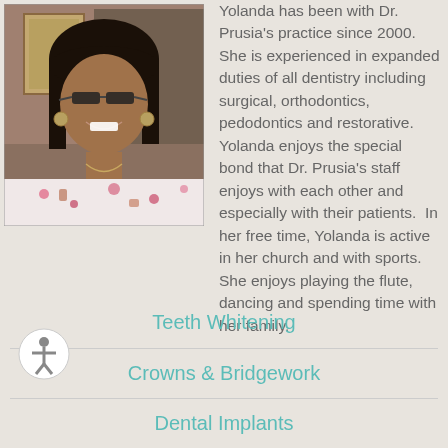[Figure (photo): Photo of Yolanda, a dental staff member, smiling, wearing glasses and a patterned medical scrub top]
Yolanda has been with Dr. Prusia's practice since 2000. She is experienced in expanded duties of all dentistry including surgical, orthodontics, pedodontics and restorative. Yolanda enjoys the special bond that Dr. Prusia's staff enjoys with each other and especially with their patients. In her free time, Yolanda is active in her church and with sports. She enjoys playing the flute, dancing and spending time with her family.
Teeth Whitening
Crowns & Bridgework
Dental Implants